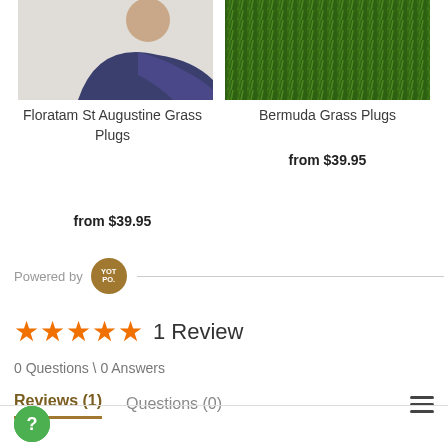[Figure (photo): Photo of person holding grass plug product - Floratam St Augustine Grass Plugs]
[Figure (photo): Close-up photo of Bermuda grass - green grass texture]
Floratam St Augustine Grass Plugs
from $39.95
Bermuda Grass Plugs
from $39.95
Powered by YOT PO.
1 Review
0 Questions \ 0 Answers
Reviews (1)
Questions (0)